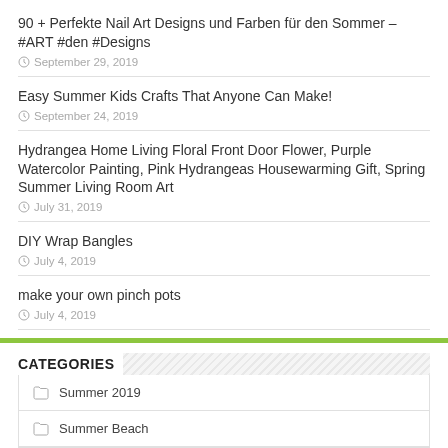90 + Perfekte Nail Art Designs und Farben für den Sommer – #ART #den #Designs
September 29, 2019
Easy Summer Kids Crafts That Anyone Can Make!
September 24, 2019
Hydrangea Home Living Floral Front Door Flower, Purple Watercolor Painting, Pink Hydrangeas Housewarming Gift, Spring Summer Living Room Art
July 31, 2019
DIY Wrap Bangles
July 4, 2019
make your own pinch pots
July 4, 2019
CATEGORIES
Summer 2019
Summer Beach